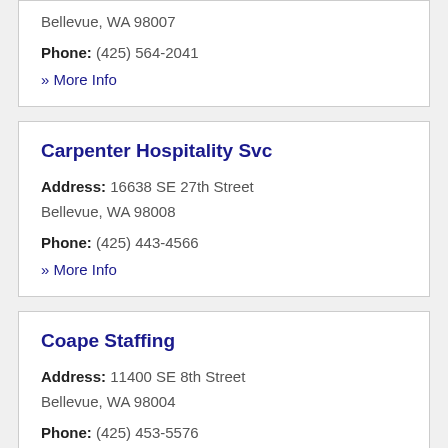Bellevue, WA 98007
Phone: (425) 564-2041
» More Info
Carpenter Hospitality Svc
Address: 16638 SE 27th Street
Bellevue, WA 98008
Phone: (425) 443-4566
» More Info
Coape Staffing
Address: 11400 SE 8th Street
Bellevue, WA 98004
Phone: (425) 453-5576